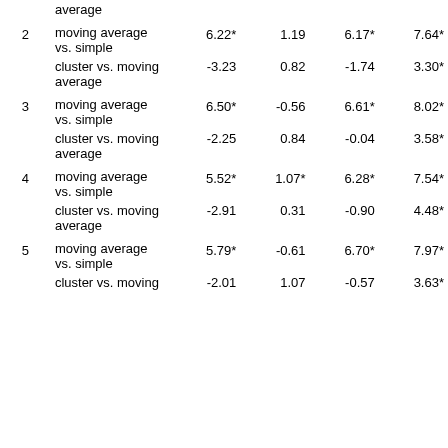|  |  |  |  |  |  |
| --- | --- | --- | --- | --- | --- |
|  | average |  |  |  |  |
| 2 | moving average vs. simple | 6.22* | 1.19 | 6.17* | 7.64* |
|  | cluster vs. moving average | -3.23 | 0.82 | -1.74 | 3.30* |
| 3 | moving average vs. simple | 6.50* | -0.56 | 6.61* | 8.02* |
|  | cluster vs. moving average | -2.25 | 0.84 | -0.04 | 3.58* |
| 4 | moving average vs. simple | 5.52* | 1.07* | 6.28* | 7.54* |
|  | cluster vs. moving average | -2.91 | 0.31 | -0.90 | 4.48* |
| 5 | moving average vs. simple | 5.79* | -0.61 | 6.70* | 7.97* |
|  | cluster vs. moving average (partial) | -2.01 | 1.07 | -0.57 | 3.63* |